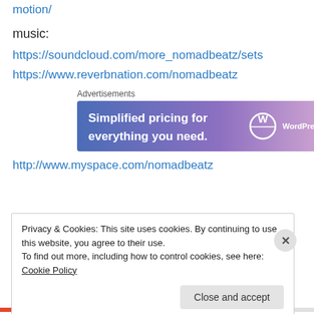motion/
music:
https://soundcloud.com/more_nomadbeatz/sets
https://www.reverbnation.com/nomadbeatz
[Figure (other): WordPress.com advertisement banner: 'Simplified pricing for everything you need.']
http://www.myspace.com/nomadbeatz
Privacy & Cookies: This site uses cookies. By continuing to use this website, you agree to their use.
To find out more, including how to control cookies, see here: Cookie Policy